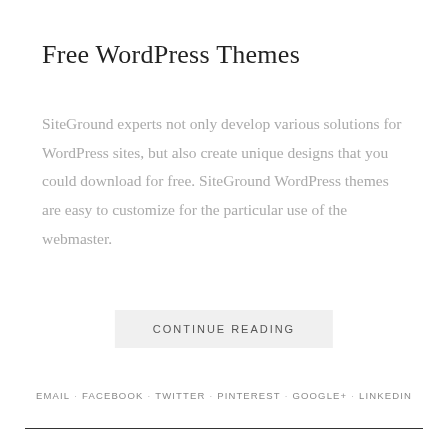Free WordPress Themes
SiteGround experts not only develop various solutions for WordPress sites, but also create unique designs that you could download for free. SiteGround WordPress themes are easy to customize for the particular use of the webmaster.
CONTINUE READING
EMAIL · FACEBOOK · TWITTER · PINTEREST · GOOGLE+ · LINKEDIN